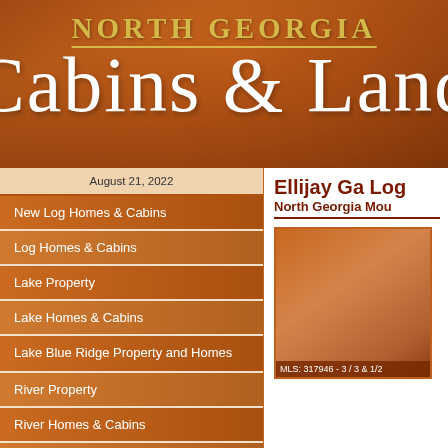[Figure (logo): North Georgia Cabins & Land logo on brown/orange gradient background. Top text reads 'NORTH GEORGIA' in gold serif capitals, below in large white script font reads 'Cabins & Land'.]
August 21, 2022
New Log Homes & Cabins
Log Homes & Cabins
Lake Property
Lake Homes & Cabins
Lake Blue Ridge Property and Homes
River Property
River Homes & Cabins
Commercial Property
Ellijay Ga Log
North Georgia Mou
[Figure (photo): Property listing image placeholder, orange/brown toned. Caption reads: MLS: 317946 - 3 / 3 & 1/2]